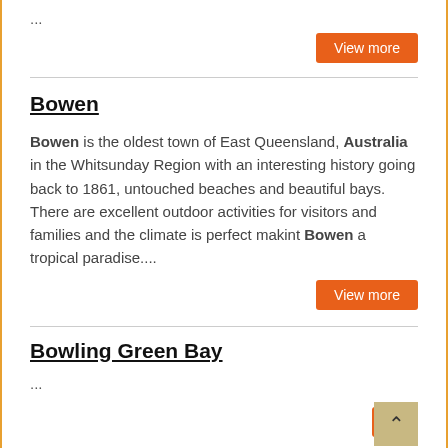...
View more
Bowen
Bowen is the oldest town of East Queensland, Australia in the Whitsunday Region with an interesting history going back to 1861, untouched beaches and beautiful bays. There are excellent outdoor activities for visitors and families and the climate is perfect makint Bowen a tropical paradise....
View more
Bowling Green Bay
...
View more
Bri...